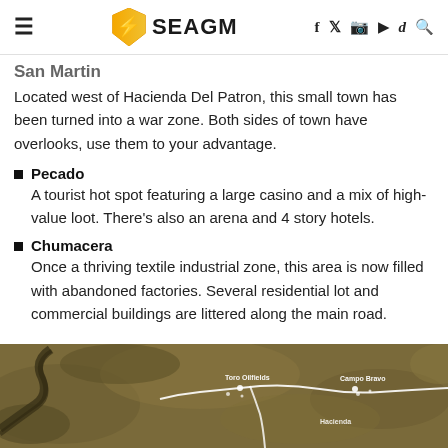SEAGM (with logo, navigation icons: f, twitter, instagram, youtube, tiktok, search)
San Martin
Located west of Hacienda Del Patron, this small town has been turned into a war zone. Both sides of town have overlooks, use them to your advantage.
Pecado – A tourist hot spot featuring a large casino and a mix of high-value loot. There's also an arena and 4 story hotels.
Chumacera – Once a thriving textile industrial zone, this area is now filled with abandoned factories. Several residential lot and commercial buildings are littered along the main road.
[Figure (map): In-game map of a game location showing terrain with white road paths and location markers labeled Toro Oilfields, Campo Bravo, and Hacienda area]